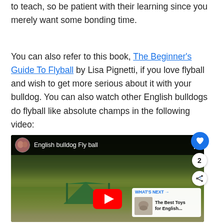to teach, so be patient with their learning since you merely want some bonding time.
You can also refer to this book, The Beginner's Guide To Flyball by Lisa Pignetti, if you love flyball and wish to get more serious about it with your bulldog. You can also watch other English bulldogs do flyball like absolute champs in the following video:
[Figure (screenshot): YouTube video thumbnail showing 'English bulldog Fly ball' with an outdoor flyball competition event, dark top bar with channel avatar and title, YouTube play button, heart/share action buttons, and a 'What's Next' panel showing 'The Best Toys for English...' recommendation.]